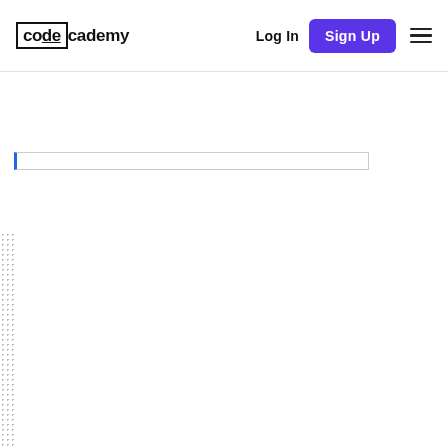codecademy | Log In | Sign Up
[Figure (screenshot): Codecademy website header with logo, Log In text, Sign Up button in purple, and hamburger menu icon. A search bar is partially visible below the header.]
“I know from first-hand experience that you can go in knowing zero, nothing, and just get a grasp on everything as you go and